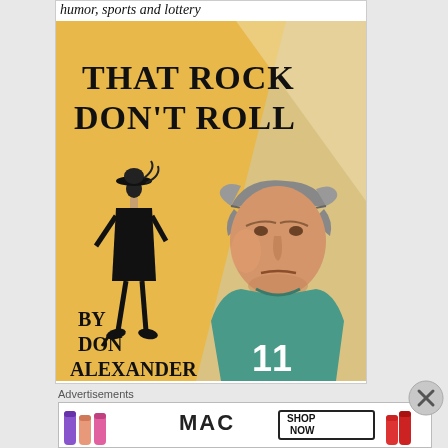humor, sports and lottery
[Figure (illustration): Book cover illustration for 'That Rock Don't Roll' by Don Alexander. Yellow/golden background with a sketch of a stylized woman in black dress and hat on the left, and a man wearing a deerstalker hat (Sherlock Holmes style) on the right side, wearing a teal/blue jersey with number 11.]
THAT ROCK DON'T ROLL
BY DON ALEXANDER
Advertisements
[Figure (photo): MAC cosmetics advertisement showing colorful lipsticks (purple, peach, pink, red) with MAC logo and 'SHOP NOW' button]